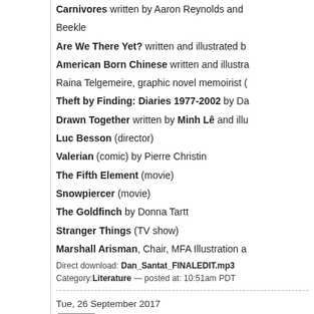Carnivores written by Aaron Reynolds and
Beekle
Are We There Yet? written and illustrated b
American Born Chinese written and illustra
Raina Telgemeire, graphic novel memoirist (
Theft by Finding: Diaries 1977-2002 by Da
Drawn Together written by Minh Lê and ill
Luc Besson (director)
Valerian (comic) by Pierre Christin
The Fifth Element (movie)
Snowpiercer (movie)
The Goldfinch by Donna Tartt
Stranger Things (TV show)
Marshall Arisman, Chair, MFA Illustration a
Direct download: Dan_Santat_FINALEDIT.mp3
Category: Literature — posted at: 10:51am PDT
Tue, 26 September 2017
Ep 109: Gaby Dunn
Gaby Dunn and Allison Raskin, New York the dangers of walking and reading, different uncomfortable, and writing a friendship rom